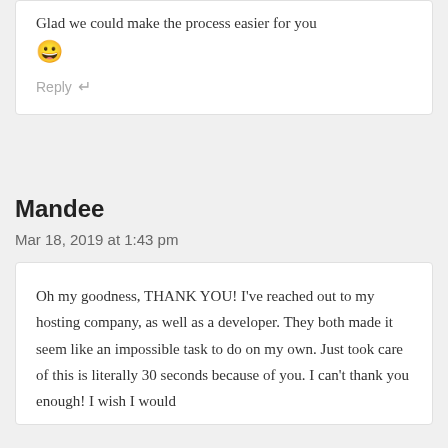Glad we could make the process easier for you 😀
Reply ↵
Mandee
Mar 18, 2019 at 1:43 pm
Oh my goodness, THANK YOU! I've reached out to my hosting company, as well as a developer. They both made it seem like an impossible task to do on my own. Just took care of this is literally 30 seconds because of you. I can't thank you enough! I wish I would